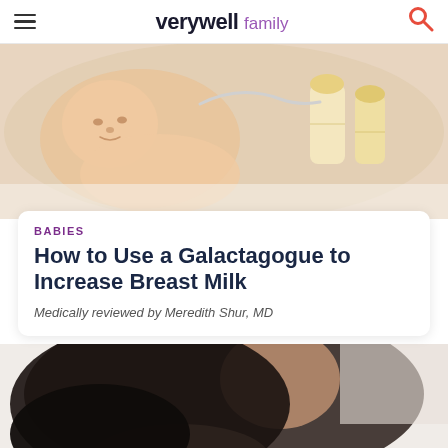verywell family
[Figure (photo): Close-up photo of a newborn baby lying on white fabric with a breast pump in the background]
BABIES
How to Use a Galactagogue to Increase Breast Milk
Medically reviewed by Meredith Shur, MD
[Figure (photo): Photo of a mother breastfeeding a baby, shown from close-up angle with dark hair visible]
We help people find answers, solve problems and get inspired. Dotdash meredith